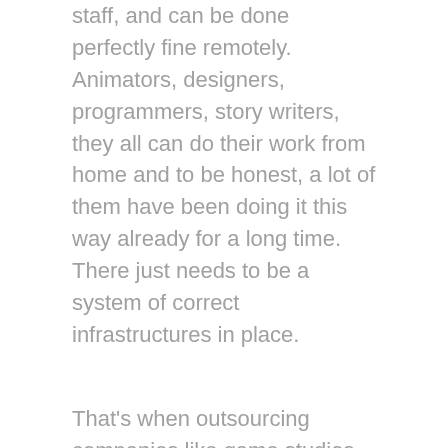staff, and can be done perfectly fine remotely. Animators, designers, programmers, story writers, they all can do their work from home and to be honest, a lot of them have been doing it this way already for a long time. There just needs to be a system of correct infrastructures in place.
That's when outsourcing companies like game studios come into play. Many indie game studios like Pixune have had an efficient modular outsourced decentralized system of production for quite a long time, and now in this time of the global quarantine, it's all paying off. Internet companies, game studios, telecommunicate-based corporations, and open-source systems of bureaucracy were barely affected by this pandemic. Meanwhile, many government